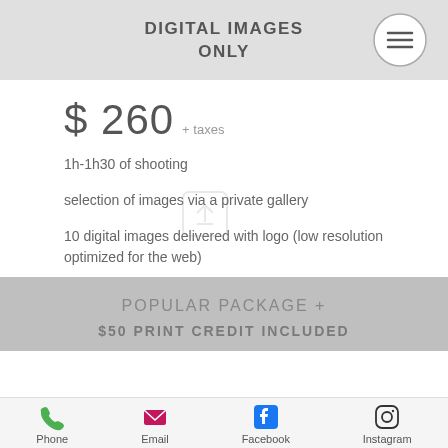DIGITAL IMAGES ONLY
$ 260 + taxes
1h-1h30 of shooting
selection of images via a private gallery
10 digital images delivered with logo (low resolution optimized for the web)
POPULAR PACKAGE +
$50 PRINT CREDIT INCLUDED
Phone  Email  Facebook  Instagram